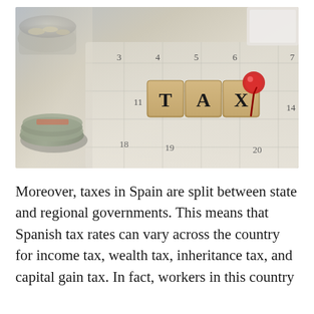[Figure (photo): A photo showing wooden letter tiles spelling 'TAX' on a calendar page, with rolled US dollar bills and coins in a glass jar visible on the left, and a red pushpin on the right. Calendar numbers visible include 3, 4, 5, 6, 7, 11, 13, 14, 18, 19, 20.]
Moreover, taxes in Spain are split between state and regional governments. This means that Spanish tax rates can vary across the country for income tax, wealth tax, inheritance tax, and capital gain tax. In fact, workers in this country